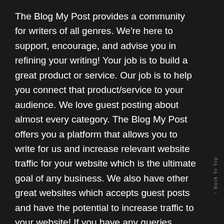The Blog My Post provides a community for writers of all genres. We're here to support, encourage, and advise you in refining your writing! Your job is to build a great product or service. Our job is to help you connect that product/service to your audience. We love guest posting about almost every category. The Blog My Post offers you a platform that allows you to write for us and increase relevant website traffic for your website which is the ultimate goal of any business. We also have other great websites which accepts guest posts and have the potential to increase traffic to your website! If you have any queries, please reach out to us and we will be more than happy to help you!
Back To Top ↑